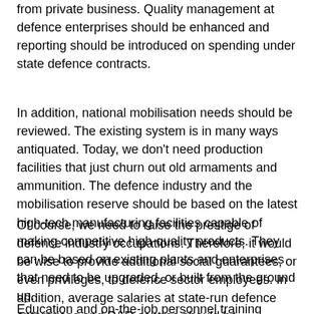from private business. Quality management at defence enterprises should be enhanced and reporting should be introduced on spending under state defence contracts.
In addition, national mobilisation needs should be reviewed. The existing system is in many ways antiquated. Today, we don't need production facilities that just churn out old armaments and ammunition. The defence industry and the mobilisation reserve should be based on the latest high-tech manufacturing facilities capable of making competitive high-quality products. They can be based on existing plants and enterprises that need to be upgraded, or built from the ground up.
Of course, we need to raise the prestige of defence industry occupations. Therefore, it would be wise to provide additional social guarantees, or even privileges, to defence sector employees. In addition, average salaries at state-run defence enterprises and R&D centres should be comparable to military service pay.
Education and on-the-job personnel training should be a